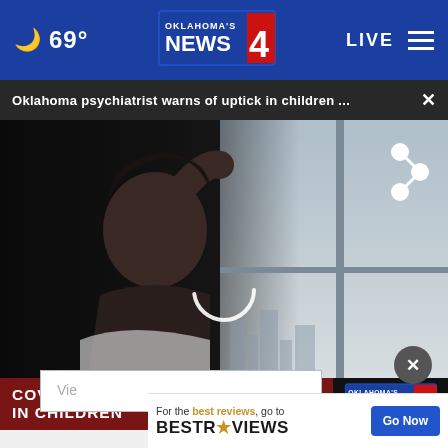69° Oklahoma's News 4 LIVE
Oklahoma psychiatrist warns of uptick in children ...
[Figure (screenshot): News video screenshot showing a child with head in hand looking distressed, sitting by a window with a city background. A loading spinner is visible. Lower third banner reads COVID IMPACTING MENTAL HEALTH IN CHILDREN with Oklahoma's News 4 logo.]
COVID IMPACTING MENTAL HEALTH IN CHILDREN
Vie
For the best reviews, go to BESTREVIEWS Go Now